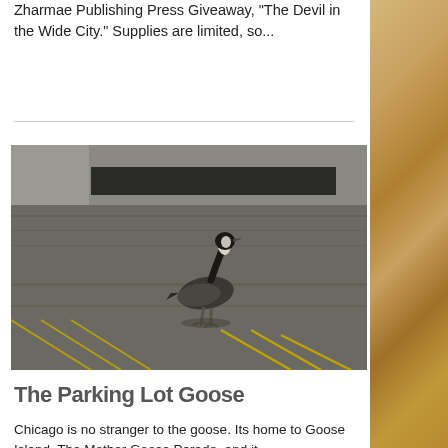Zharmae Publishing Press Giveaway, “The Devil in the Wide City.” Supplies are limited, so...
[Figure (photo): A Canada goose standing alone in the middle of a parking lot or road, with yellow lane markings visible on the asphalt and a building wall in the background.]
The Parking Lot Goose
Chicago is no stranger to the goose. Its home to Goose Island, The Mother Goose Parade, and it